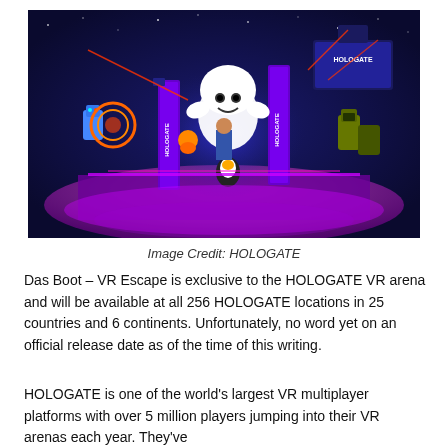[Figure (illustration): Colorful VR gaming promotional illustration showing animated characters, robots, and a large friendly ghost character on a glowing stage with HOLOGATE signage and arcade-style equipment. Characters include various VR players and game characters in a sci-fi arena setting.]
Image Credit: HOLOGATE
Das Boot – VR Escape is exclusive to the HOLOGATE VR arena and will be available at all 256 HOLOGATE locations in 25 countries and 6 continents. Unfortunately, no word yet on an official release date as of the time of this writing.
HOLOGATE is one of the world's largest VR multiplayer platforms with over 5 million players jumping into their VR arenas each year. They've